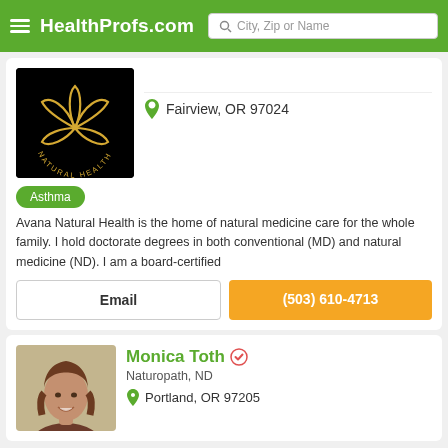HealthProfs.com — City, Zip or Name search bar
[Figure (logo): Natural Health logo: gold lotus flower on black background with 'NATURAL HEALTH' text arc]
Fairview, OR 97024
Asthma
Avana Natural Health is the home of natural medicine care for the whole family. I hold doctorate degrees in both conventional (MD) and natural medicine (ND). I am a board-certified
Email
(503) 610-4713
[Figure (photo): Photo of Monica Toth, a woman with brown hair smiling]
Monica Toth — Naturopath, ND
Portland, OR 97205